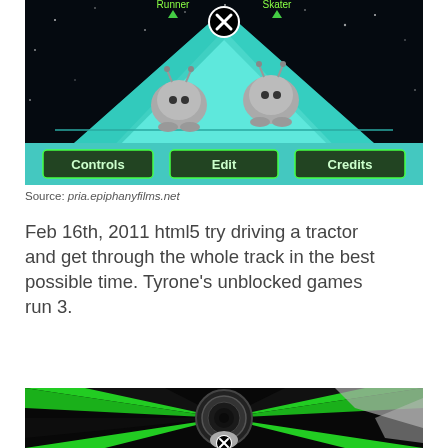[Figure (screenshot): Screenshot of an HTML5 game with a black starry background and cyan triangular track. Two gray alien characters are visible. Three green buttons labeled 'Controls', 'Edit', and 'Credits' are at the bottom. A close (X) button appears at the top center. Labels 'Runner' and 'Skater' appear at the top.]
Source: pria.epiphanyfilms.net
Feb 16th, 2011 html5 try driving a tractor and get through the whole track in the best possible time. Tyrone's unblocked games run 3.
[Figure (screenshot): Screenshot of an HTML5 game showing a spiral tunnel rendered in green and black with a gray alien character in the center foreground. A close (X) button appears at the bottom center.]